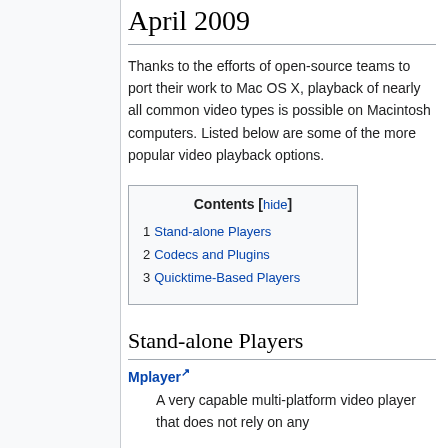April 2009
Thanks to the efforts of open-source teams to port their work to Mac OS X, playback of nearly all common video types is possible on Macintosh computers. Listed below are some of the more popular video playback options.
| Contents [hide] |
| 1  Stand-alone Players |
| 2  Codecs and Plugins |
| 3  Quicktime-Based Players |
Stand-alone Players
Mplayer
A very capable multi-platform video player that does not rely on any